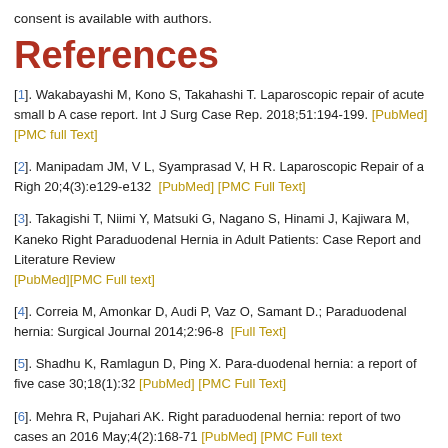consent is available with authors.
References
[1]. Wakabayashi M, Kono S, Takahashi T. Laparoscopic repair of acute small bowel obstruction due to right paraduodenal hernia: A case report. Int J Surg Case Rep. 2018;51:194-199. [PubMed] [PMC full Text]
[2]. Manipadam JM, V L, Syamprasad V, H R. Laparoscopic Repair of a Right Paraduodenal Hernia. J Minim Access Surg. 2024 Jul 20;4(3):e129-e132  [PubMed] [PMC Full Text]
[3]. Takagishi T, Niimi Y, Matsuki G, Nagano S, Hinami J, Kajiwara M, Kaneko K, et al. Laparoscopic Surgery for Right Paraduodenal Hernia in Adult Patients: Case Report and Literature Review. J Surg Case Rep. 2022;2022(1). [PubMed][PMC Full text]
[4]. Correia M, Amonkar D, Audi P, Vaz O, Samant D.; Paraduodenal hernia: A Case Report. International Surgical Journal 2014;2:96-8  [Full Text]
[5]. Shadhu K, Ramlagun D, Ping X. Para-duodenal hernia: a report of five cases and review of literature. BMC Surg. 2018 May 30;18(1):32  [PubMed] [PMC Full Text]
[6]. Mehra R, Pujahari AK. Right paraduodenal hernia: report of two cases and review of literature. Med J Armed Forces India. 2016 May;4(2):168-71  [PubMed] [PMC Full text
[7]. Sleiman Y, El-Kheir A, El-Khoury M, Hamdach O, Ismail L, Allouch ...